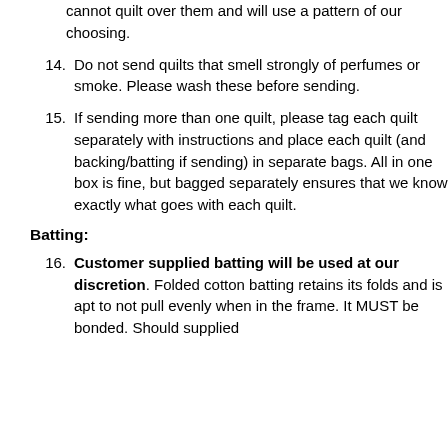cannot quilt over them and will use a pattern of our choosing.
14. Do not send quilts that smell strongly of perfumes or smoke. Please wash these before sending.
15. If sending more than one quilt, please tag each quilt separately with instructions and place each quilt (and backing/batting if sending) in separate bags. All in one box is fine, but bagged separately ensures that we know exactly what goes with each quilt.
Batting:
16. Customer supplied batting will be used at our discretion. Folded cotton batting retains its folds and is apt to not pull evenly when in the frame. It MUST be bonded. Should supplied